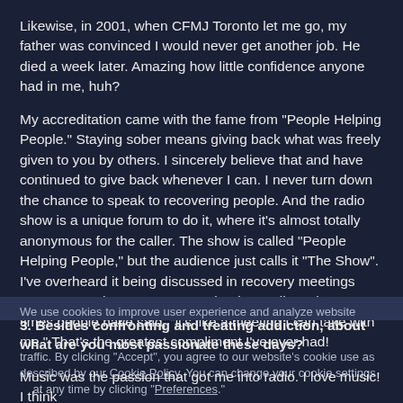Likewise, in 2001, when CFMJ Toronto let me go, my father was convinced I would never get another job. He died a week later. Amazing how little confidence anyone had in me, huh?
My accreditation came with the fame from "People Helping People." Staying sober means giving back what was freely given to you by others. I sincerely believe that and have continued to give back whenever I can. I never turn down the chance to speak to recovering people. And the radio show is a unique forum to do it, where it's almost totally anonymous for the caller. The show is called "People Helping People," but the audience just calls it "The Show". I've overheard it being discussed in recovery meetings many, many times. I can't even begin to tell you how many times people have said, "it's like a meeting I can take with me." That's the greatest compliment I've ever had!
We use cookies to improve user experience and analyze website
3. Besides confronting and treating addiction, about what are you most passionate these days?
traffic. By clicking "Accept", you agree to our website's cookie use as described by our Cookie Policy. You can change your cookie settings at any time by clicking "Preferences."
Music was the passion that got me into radio. I love music! I think the best radio personalities have always been passionate about what we played.